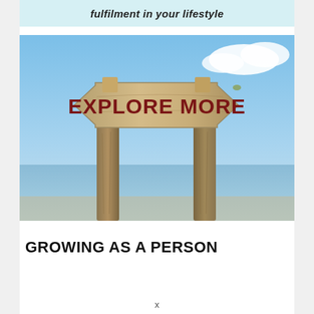fulfilment in your lifestyle
[Figure (photo): A wooden directional sign reading 'EXPLORE MORE' mounted on two wooden posts against a blue sky and water background.]
GROWING AS A PERSON
x